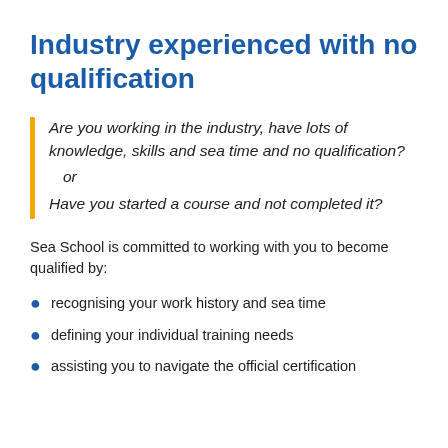Industry experienced with no qualification
Are you working in the industry, have lots of knowledge, skills and sea time and no qualification?
  or
Have you started a course and not completed it?
Sea School is committed to working with you to become qualified by:
recognising your work history and sea time
defining your individual training needs
assisting you to navigate the official certification